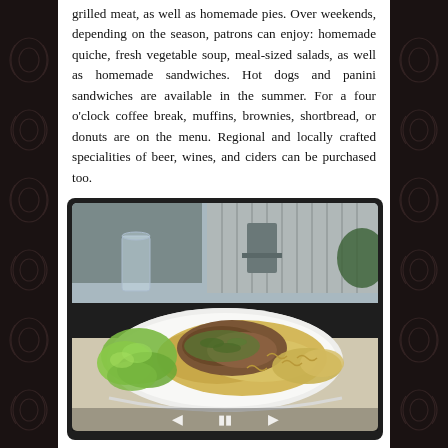grilled meat, as well as homemade pies. Over weekends, depending on the season, patrons can enjoy: homemade quiche, fresh vegetable soup, meal-sized salads, as well as homemade sandwiches. Hot dogs and panini sandwiches are available in the summer. For a four o'clock coffee break, muffins, brownies, shortbread, or donuts are on the menu. Regional and locally crafted specialities of beer, wines, and ciders can be purchased too.
[Figure (photo): A food photograph showing a white rectangular plate with pasta (spiral/rotini noodles) topped with a meat and vegetable mixture (appears to be mushrooms and greens). The plate is set on what appears to be a wooden deck/patio table with a glass of water and outdoor furniture visible in the background. The image is displayed in a dark-bordered media player frame with navigation arrows (back, pause, forward) at the bottom.]